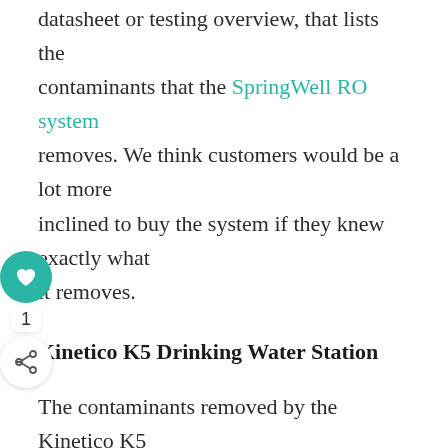datasheet or testing overview, that lists the contaminants that the SpringWell RO system removes. We think customers would be a lot more inclined to buy the system if they knew exactly what it removes.
Kinetico K5 Drinking Water Station
The contaminants removed by the Kinetico K5 depend on the combination of filters you choose. If you opt for the three standard filters, the system will remove impurities including:
Sediment
Chlorine